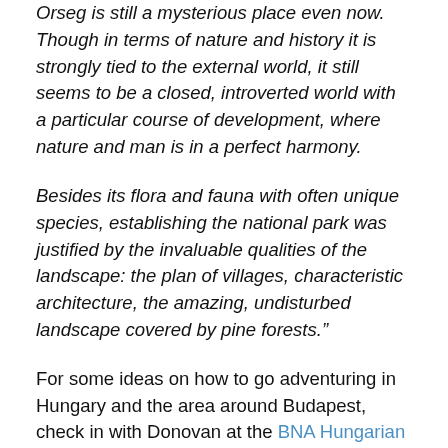Orseg is still a mysterious place even now. Though in terms of nature and history it is strongly tied to the external world, it still seems to be a closed, introverted world with a particular course of development, where nature and man is in a perfect harmony.
Besides its flora and fauna with often unique species, establishing the national park was justified by the invaluable qualities of the landscape: the plan of villages, characteristic architecture, the amazing, undisturbed landscape covered by pine forests."
For some ideas on how to go adventuring in Hungary and the area around Budapest, check in with Donovan at the BNA Hungarian Adventure center.
Adventure Review